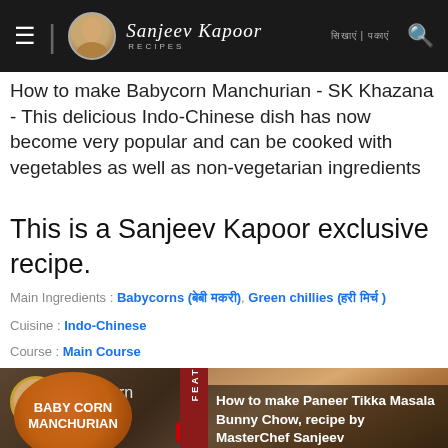Sanjeev Kapoor Recipes
How to make Babycorn Manchurian - SK Khazana - This delicious Indo-Chinese dish has now become very popular and can be cooked with vegetables as well as non-vegetarian ingredients
This is a Sanjeev Kapoor exclusive recipe.
Main Ingredients : Babycorns (बेबी मकई), Green chillies (हरी मिर्च )
Cuisine : Indo-Chinese
Course : Main Course
[Figure (screenshot): Baby Corn Manchurian video thumbnail with orange circle logo and chef face]
[Figure (screenshot): Featured Recipes popup showing Paneer Tikka Masala Bunny Chow recipe with food image]